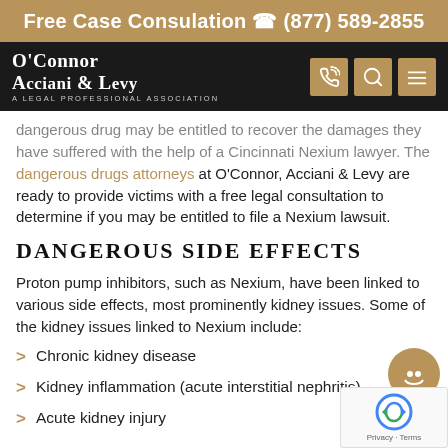Free Case Consulation ☎ (877) 589-2855
[Figure (logo): O'Connor Acciani & Levy law firm logo with navigation icons (phone, search, menu)]
dangerous drug may be entitled to recover the damages they have suffered with the help of a Cincinnati Nexium lawyer. The dangerous drugs attorneys at O’Connor, Acciani & Levy are ready to provide victims with a free legal consultation to determine if you may be entitled to file a Nexium lawsuit.
DANGEROUS SIDE EFFECTS
Proton pump inhibitors, such as Nexium, have been linked to various side effects, most prominently kidney issues. Some of the kidney issues linked to Nexium include:
Chronic kidney disease
Kidney inflammation (acute interstitial nephritis)
Acute kidney injury